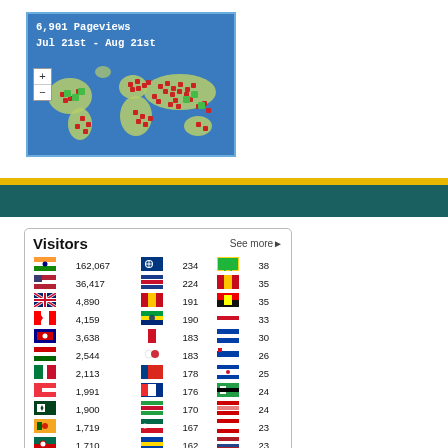[Figure (map): World map showing 6,901 pageviews from Jul 21st to Aug 21st, with red and green dot markers clustered over Europe, Asia, and the Americas. Blue background with zoom +/- controls.]
[Figure (infographic): Yellow horizontal stripe followed by teal/dark green horizontal stripe as decorative page dividers.]
| Flag | Count | Flag | Count | Flag | Count |
| --- | --- | --- | --- | --- | --- |
| India | 162,067 | Finland | 234 | Tanzania | 38 |
| USA | 36,417 | Thailand | 224 | Maldives | 35 |
| UK | 4,890 | Spain | 191 | Trinidad | 35 |
| Canada | 4,159 | Brazil | 190 | Russia | 33 |
| Australia | 3,638 | Bahrain | 183 | Azerbaijan | 30 |
| Malaysia | 2,544 | South Korea | 183 | Croatia | 26 |
| UAE | 2,113 | Hong Kong | 178 | Serbia | 25 |
| Singapore | 1,991 | Norway | 176 | Palestine | 24 |
| Pakistan | 1,900 | Iran | 170 | Moldova | 24 |
| Sri Lanka | 1,719 | Mexico | 167 | Kyrgyzstan | 23 |
| Bangladesh | 1,710 | (flag) | 162 | Netherlands | 23 |